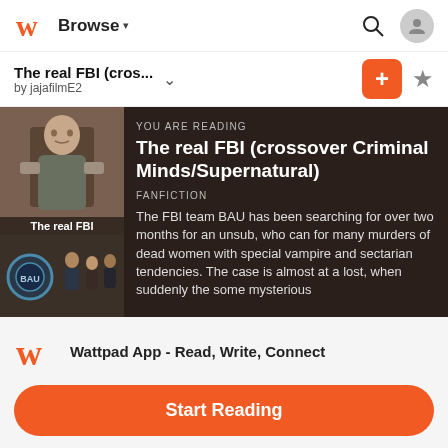Browse
The real FBI (cros...
by jajafilmE2
[Figure (screenshot): Story cover images for 'The real FBI' showing a man in a jacket above and a group scene below with text overlay 'The real FBI']
YOU ARE READING
The real FBI (crossover Criminal Minds/Supernatural)
FANFICTION
The FBI team BAU has been searching for over two months for an unsub, who can for many murders of dead women with special vampire and sectarian tendencies. The case is almost at a lost, when suddenly the some mysterious
Wattpad App - Read, Write, Connect
Start Reading
Log in with Browser